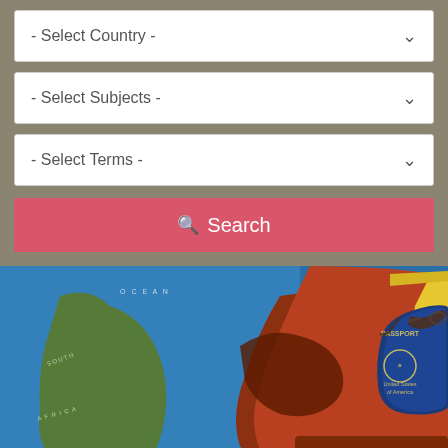[Figure (screenshot): Three dropdown selectors: '- Select Country -', '- Select Subjects -', '- Select Terms -', followed by a red Search button with magnifying glass icon.]
[Figure (photo): Photo of a travel scene: a world map/globe showing the Atlantic Ocean and South America, with a brown leather bag/suitcase, a blue United States passport, a yellow book, and a pair of glasses resting on top.]
Benjamin Franklin, inventor and United States founding father, once said, "Tell me and I forget. Teach me and I remember. Involve me and I learn." Studying abroad is one of the best